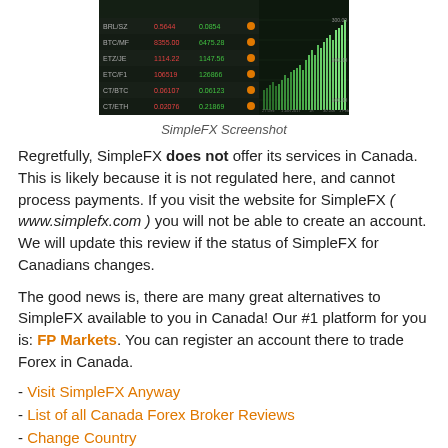[Figure (screenshot): SimpleFX trading platform screenshot showing a dark-themed interface with cryptocurrency price tickers and a candlestick/bar chart]
SimpleFX Screenshot
Regretfully, SimpleFX does not offer its services in Canada. This is likely because it is not regulated here, and cannot process payments. If you visit the website for SimpleFX ( www.simplefx.com ) you will not be able to create an account. We will update this review if the status of SimpleFX for Canadians changes.
The good news is, there are many great alternatives to SimpleFX available to you in Canada! Our #1 platform for you is: FP Markets. You can register an account there to trade Forex in Canada.
- Visit SimpleFX Anyway
- List of all Canada Forex Broker Reviews
- Change Country